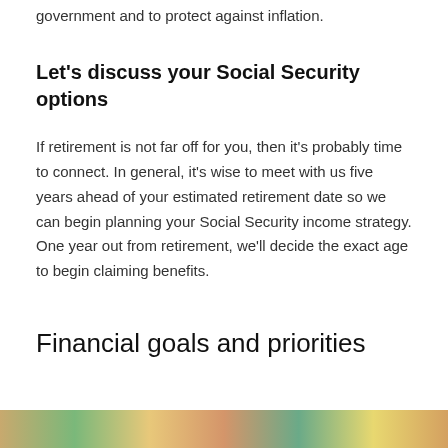government and to protect against inflation.
Let's discuss your Social Security options
If retirement is not far off for you, then it's probably time to connect. In general, it's wise to meet with us five years ahead of your estimated retirement date so we can begin planning your Social Security income strategy. One year out from retirement, we'll decide the exact age to begin claiming benefits.
Financial goals and priorities
[Figure (photo): Colorful photo strip at the bottom of the page showing outdoor/lifestyle imagery]